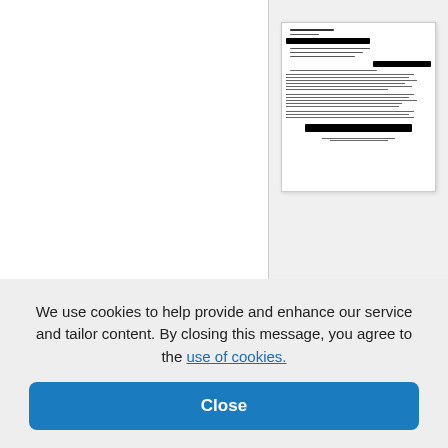[Figure (screenshot): Thumbnail of a legal letter document with redacted sections (black bars), multiple paragraphs of text, and a signature block at the bottom.]
[Figure (screenshot): Thumbnail of a second legal document page with redacted text and handwritten elements visible.]
We use cookies to help provide and enhance our service and tailor content. By closing this message, you agree to the use of cookies.